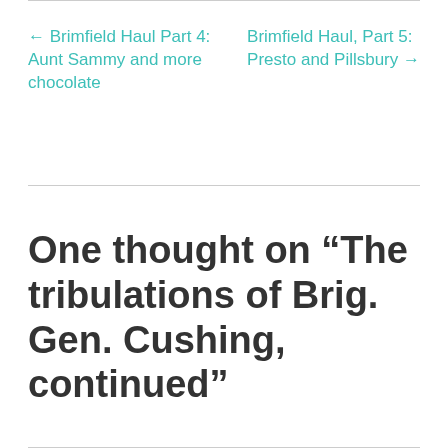← Brimfield Haul Part 4: Aunt Sammy and more chocolate
Brimfield Haul, Part 5: Presto and Pillsbury →
One thought on “The tribulations of Brig. Gen. Cushing, continued”